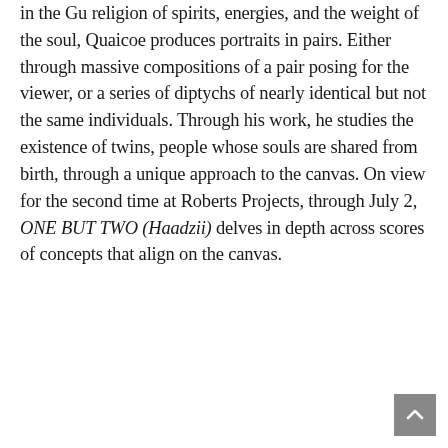in the Gu religion of spirits, energies, and the weight of the soul, Quaicoe produces portraits in pairs. Either through massive compositions of a pair posing for the viewer, or a series of diptychs of nearly identical but not the same individuals. Through his work, he studies the existence of twins, people whose souls are shared from birth, through a unique approach to the canvas. On view for the second time at Roberts Projects, through July 2, ONE BUT TWO (Haadzii) delves in depth across scores of concepts that align on the canvas.